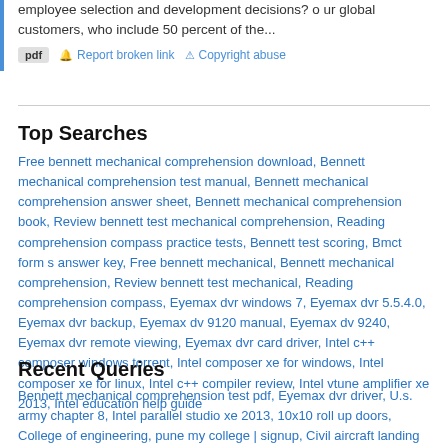employee selection and development decisions? o ur global customers, who include 50 percent of the...
pdf  Report broken link  Copyright abuse
Top Searches
Free bennett mechanical comprehension download, Bennett mechanical comprehension test manual, Bennett mechanical comprehension answer sheet, Bennett mechanical comprehension book, Review bennett test mechanical comprehension, Reading comprehension compass practice tests, Bennett test scoring, Bmct form s answer key, Free bennett mechanical, Bennett mechanical comprehension, Review bennett test mechanical, Reading comprehension compass, Eyemax dvr windows 7, Eyemax dvr 5.5.4.0, Eyemax dvr backup, Eyemax dv 9120 manual, Eyemax dv 9240, Eyemax dvr remote viewing, Eyemax dvr card driver, Intel c++ composer windows torrent, Intel composer xe for windows, Intel composer xe for linux, Intel c++ compiler review, Intel vtune amplifier xe 2013, Intel education help guide
Recent Queries
Bennett mechanical comprehension test pdf, Eyemax dvr driver, U.s. army chapter 8, Intel parallel studio xe 2013, 10x10 roll up doors, College of engineering, pune my college | signup, Civil aircraft landing